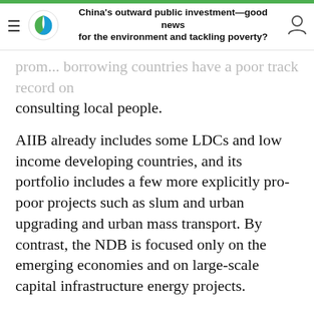China's outward public investment—good news for the environment and tackling poverty?
prom... borrowing countries have a poor track record on consulting local people.
AIIB already includes some LDCs and low income developing countries, and its portfolio includes a few more explicitly pro-poor projects such as slum and urban upgrading and urban mass transport. By contrast, the NDB is focused only on the emerging economies and on large-scale capital infrastructure energy projects.
The development impacts of the Belt and Road are more debatable, with key criteria for country selection and investment design being to support Chinese political and economic objectives rather than any overall drive to reduce poverty and achieve the SDGs.
Harnessing the huge potential